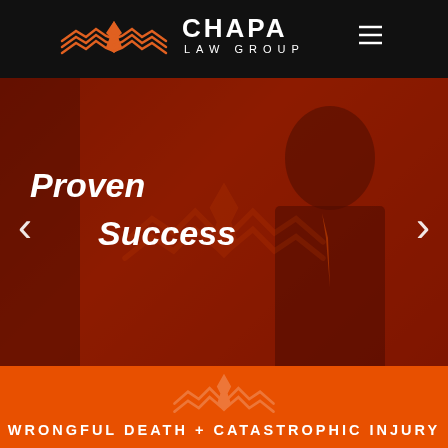[Figure (logo): Chapa Law Group logo with orange eagle/wings icon and text CHAPA LAW GROUP in white on black header, with hamburger menu icon top right]
[Figure (photo): Hero section with dark red/orange overlay showing a man in a suit with orange tie, Chapa Law Group watermark logo in center, left and right carousel arrows, and bold white italic text reading 'Proven' and 'Success']
Proven
Success
WRONGFUL DEATH + CATASTROPHIC INJURY